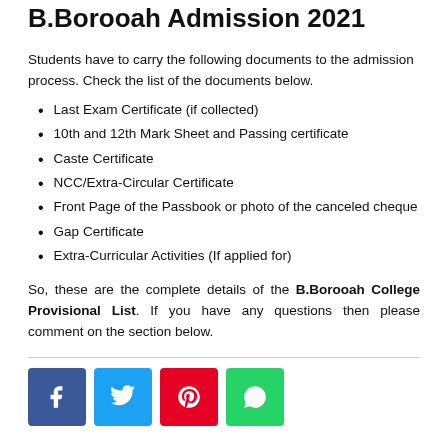B.Borooah Admission 2021
Students have to carry the following documents to the admission process. Check the list of the documents below.
Last Exam Certificate (if collected)
10th and 12th Mark Sheet and Passing certificate
Caste Certificate
NCC/Extra-Circular Certificate
Front Page of the Passbook or photo of the canceled cheque
Gap Certificate
Extra-Curricular Activities (If applied for)
So, these are the complete details of the B.Borooah College Provisional List. If you have any questions then please comment on the section below.
[Figure (other): Social media share buttons: Facebook, Twitter, Pinterest, WhatsApp]